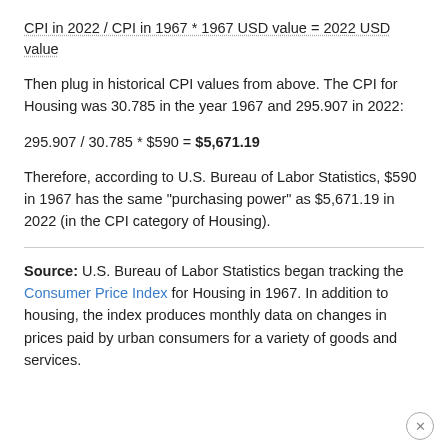Then plug in historical CPI values from above. The CPI for Housing was 30.785 in the year 1967 and 295.907 in 2022:
295.907 / 30.785 * $590 = $5,671.19
Therefore, according to U.S. Bureau of Labor Statistics, $590 in 1967 has the same "purchasing power" as $5,671.19 in 2022 (in the CPI category of Housing).
Source: U.S. Bureau of Labor Statistics began tracking the Consumer Price Index for Housing in 1967. In addition to housing, the index produces monthly data on changes in prices paid by urban consumers for a variety of goods and services.